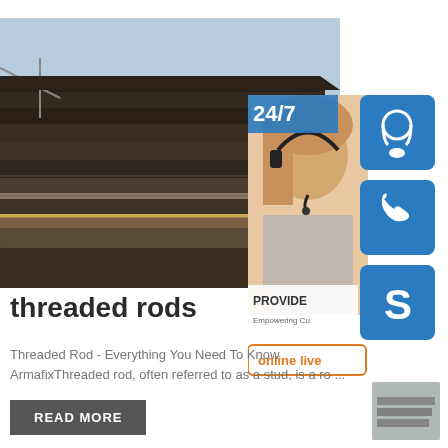[Figure (photo): Stack of steel plates/sheets stored outdoors, viewed from the side showing layered edges with yellow paint stripe]
[Figure (infographic): 24/7 customer support overlay panel with headset icon, phone icon, Skype icon, customer service agent photo, PROVIDE text, and online live button]
threaded rods
Threaded Rod - Everything You Need To Know ArmafixThreaded rod, often referred to as a stud, is a ro ...
READ MORE
[Figure (photo): Small thumbnail image at bottom right]